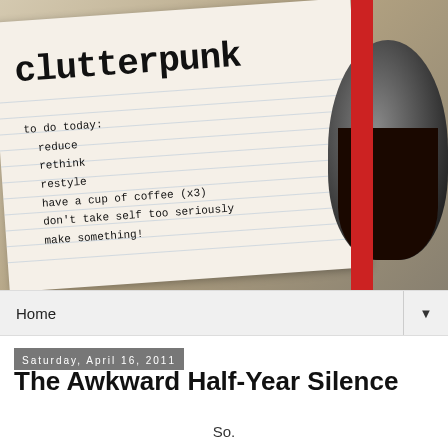[Figure (photo): A notebook with 'clutterpunk' written in typewriter font at the top, with a handwritten to-do list reading: 'to do today: reduce, rethink, restyle, have a cup of coffee (x3), don't take self too seriously, make something!' A red spine is visible on the right, and a coffee cup is in the upper right corner.]
Home
Saturday, April 16, 2011
The Awkward Half-Year Silence
So.